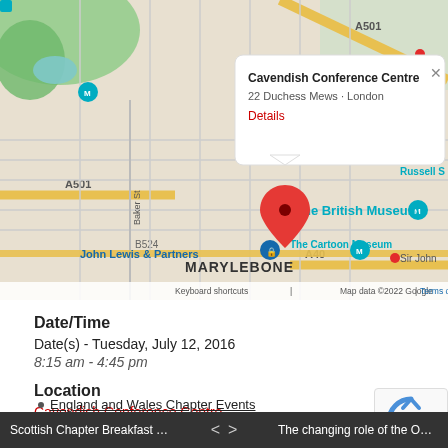[Figure (map): Google Maps screenshot showing Marylebone area in London with a red pin marker. A popup info box shows 'Cavendish Conference Centre, 22 Duchess Mews - London, Details'. Nearby landmarks include The British Museum, Grant Museum of Zoology, The Cartoon Museum, John Lewis & Partners, BT Tower. Roads A501, A40, B524 are visible. Map attribution: Keyboard shortcuts | Map data ©2022 Google | Terms of Use]
Date/Time
Date(s) - Tuesday, July 12, 2016
8:15 am - 4:45 pm
Location
Cavendish Conference Centre
Category(ies)
Scottish Chapter Breakfast Event - EDINB...     < >     The changing role of the Operational Ris...
England and Wales Chapter Events